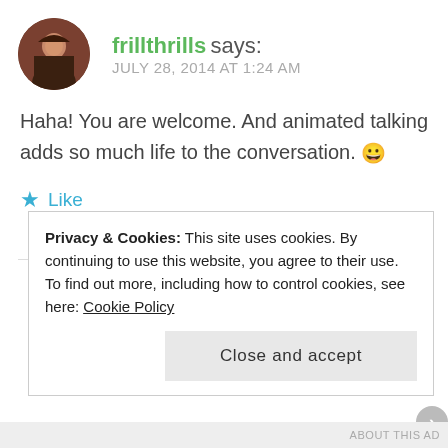[Figure (photo): Circular avatar photo of a person (frillthrills)]
frillthrills says:
JULY 28, 2014 AT 1:24 AM
Haha! You are welcome. And animated talking adds so much life to the conversation. 😀
★ Like
REPLY ↩
Privacy & Cookies: This site uses cookies. By continuing to use this website, you agree to their use.
To find out more, including how to control cookies, see here: Cookie Policy
Close and accept